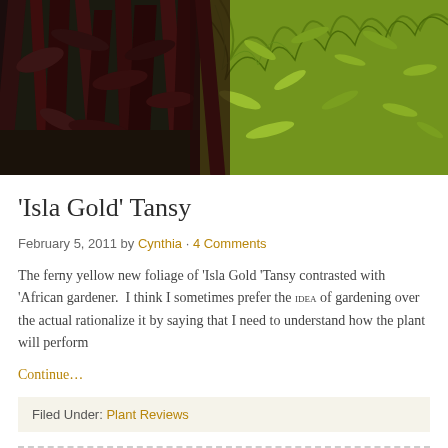[Figure (photo): Header photo showing dark burgundy/purple leafy plants (possibly Alternanthera or similar) contrasted with bright yellow-green ferny foliage on the right, against a garden background.]
‘Isla Gold’ Tansy
February 5, 2011 by Cynthia · 4 Comments
The ferny yellow new foliage of ‘Isla Gold ‘Tansy contrasted with ‘African gardener. I think I sometimes prefer the IDEA of gardening over the actual rationalize it by saying that I need to understand how the plant will perform
Continue…
Filed Under: Plant Reviews
« Older Posts